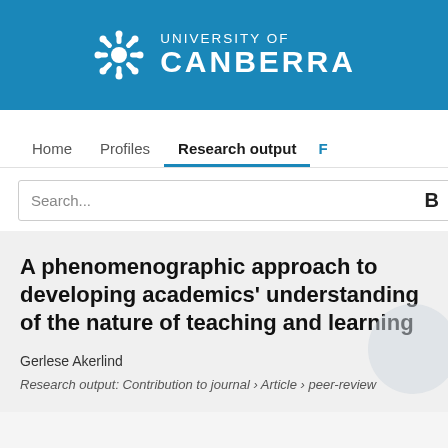[Figure (logo): University of Canberra logo: snowflake-style gear icon in white beside text 'UNIVERSITY OF CANBERRA' in white on blue background]
Home   Profiles   Research output   F
Search...
A phenomenographic approach to developing academics' understanding of the nature of teaching and learning
Gerlese Akerlind
Research output: Contribution to journal › Article › peer-review